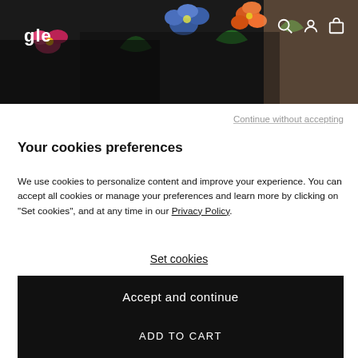[Figure (photo): Hero banner image showing a person wearing a black floral dress, partially cropped. Navigation icons (search, account, cart) visible on top right. Logo text partially visible on top left.]
Continue without accepting
Your cookies preferences
We use cookies to personalize content and improve your experience. You can accept all cookies or manage your preferences and learn more by clicking on "Set cookies", and at any time in our Privacy Policy.
Set cookies
Accept and continue
ADD TO CART